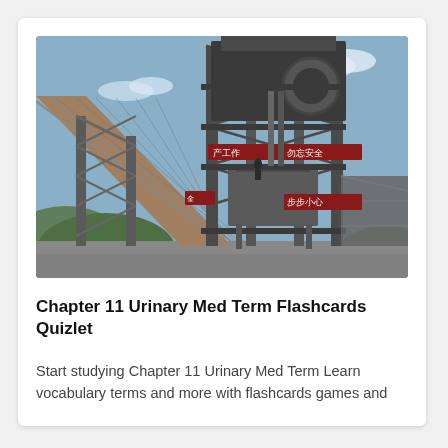[Figure (photo): Photograph of an industrial mining or processing tower structure with steel scaffolding, conveyor belt, and Chinese safety warning signs (红色横幅 with characters 产工作, 勿忘安全, 步步小心). Sky is blue with light clouds. Green hills visible in background.]
Chapter 11 Urinary Med Term Flashcards Quizlet
Start studying Chapter 11 Urinary Med Term Learn vocabulary terms and more with flashcards games and